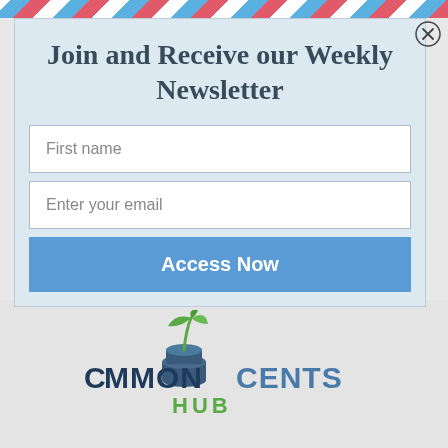Join and Receive our Weekly Newsletter
First name
Enter your email
Access Now
[Figure (logo): Common Cents Hub logo with plant growing from coin stack]